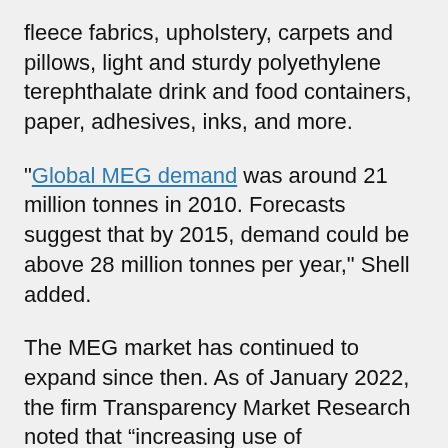fleece fabrics, upholstery, carpets and pillows, light and sturdy polyethylene terephthalate drink and food containers, paper, adhesives, inks, and more.
"Global MEG demand was around 21 million tonnes in 2010. Forecasts suggest that by 2015, demand could be above 28 million tonnes per year," Shell added.
The MEG market has continued to expand since then. As of January 2022, the firm Transparency Market Research noted that “increasing use of monoethylene glycol in the textile industry is likely to foster the growth of the global